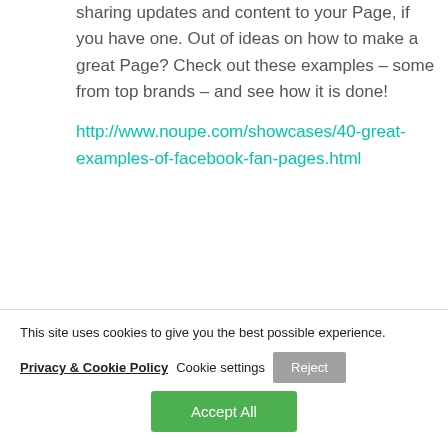sharing updates and content to your Page, if you have one. Out of ideas on how to make a great Page? Check out these examples – some from top brands – and see how it is done!
http://www.noupe.com/showcases/40-great-examples-of-facebook-fan-pages.html
This site uses cookies to give you the best possible experience.
Privacy & Cookie Policy  Cookie settings  Reject
Accept All